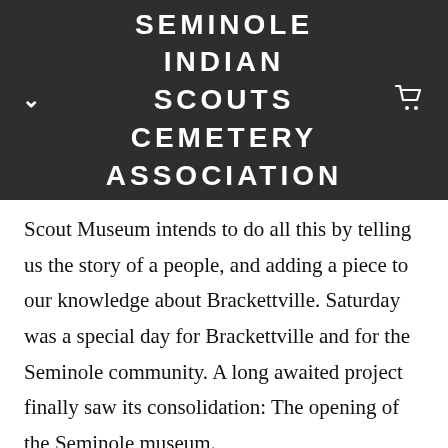SEMINOLE INDIAN SCOUTS CEMETERY ASSOCIATION
Scout Museum intends to do all this by telling us the story of a people, and adding a piece to our knowledge about Brackettville. Saturday was a special day for Brackettville and for the Seminole community. A long awaited project finally saw its consolidation: The opening of the Seminole museum.
The museum was originally created in 2010 by a group of Seminoles who wanted to keep the memory of their people and to honor Miss Charles Emily Wilson, a person who worked hard for her